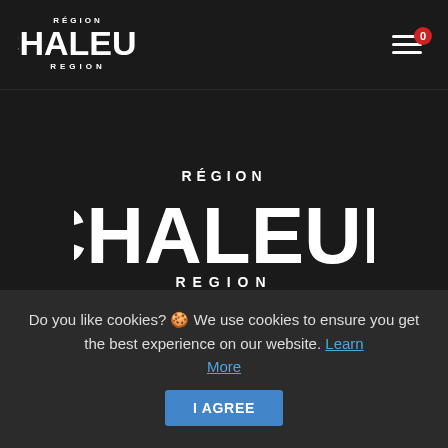[Figure (logo): Région Chaleur Region logo in white on dark background — header nav bar version, small size]
[Figure (other): Hamburger menu icon with red badge showing '0']
[Figure (logo): Région Chaleur Region logo in white on dark background — large centered version]
Everyone is welcome and nothing is taken for granted
Do you like cookies? 🍪 We use cookies to ensure you get the best experience on our website. Learn More
I AGREE